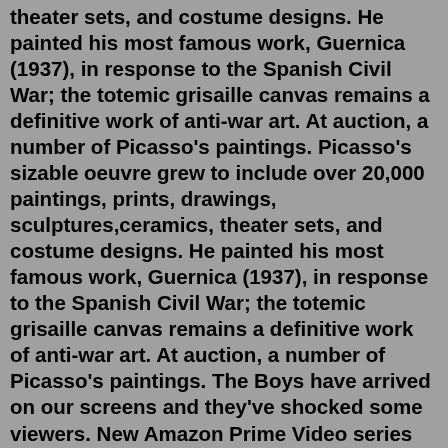theater sets, and costume designs. He painted his most famous work, Guernica (1937), in response to the Spanish Civil War; the totemic grisaille canvas remains a definitive work of anti-war art. At auction, a number of Picasso's paintings. Picasso's sizable oeuvre grew to include over 20,000 paintings, prints, drawings, sculptures,ceramics, theater sets, and costume designs. He painted his most famous work, Guernica (1937), in response to the Spanish Civil War; the totemic grisaille canvas remains a definitive work of anti-war art. At auction, a number of Picasso's paintings. The Boys have arrived on our screens and they've shocked some viewers. New Amazon Prime Video series The Boys, based on the graphic novels. When Ali won the supporting actor Oscar, Shirley's family was on Skype. “Everybody was happy for Mahershala Ali and the first words out of his mouth was thank you to Dr. Don Shirley," said. British newspaper The Guardian has released a video on its website that shows a man in uniform forcing tribal girls, who are bare-chested, to dance for